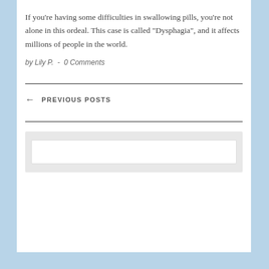If you're having some difficulties in swallowing pills, you're not alone in this ordeal. This case is called “Dysphagia”, and it affects millions of people in the world.
by Lily P.  -  0 Comments
←  PREVIOUS POSTS
[Figure (screenshot): Search input box area with light gray outer container and white inner input field]